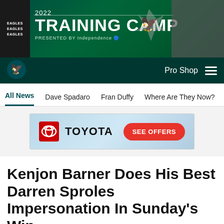[Figure (illustration): 2022 Training Camp banner presented by Independence Blue Cross with Philadelphia Eagles branding, green background, eagles wordmark repeated on left side, eagle logo on right]
[Figure (logo): Philadelphia Eagles navigation bar with eagle logo on left, Pro Shop and hamburger menu on right, dark green background]
All News  Dave Spadaro  Fran Duffy  Where Are They Now?  Pu
[Figure (illustration): Toyota advertisement banner with Toyota logo and SEE OFFERS red button]
Kenjon Barner Does His Best Darren Sproles Impersonation In Sunday's Win
Oct 08, 2017 at 02:07 PM
[Figure (infographic): Social share icons row: Facebook, Twitter, Email, Link]